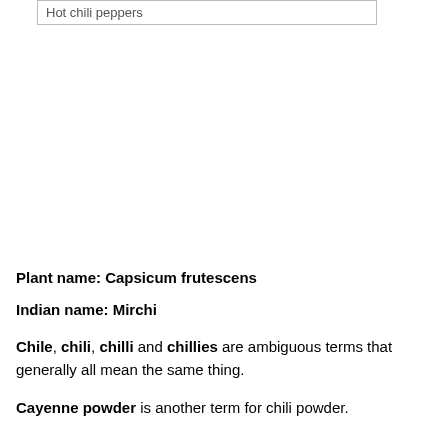Hot chili peppers
Plant name: Capsicum frutescens
Indian name: Mirchi
Chile, chili, chilli and chillies are ambiguous terms that generally all mean the same thing.
Cayenne powder is another term for chili powder.